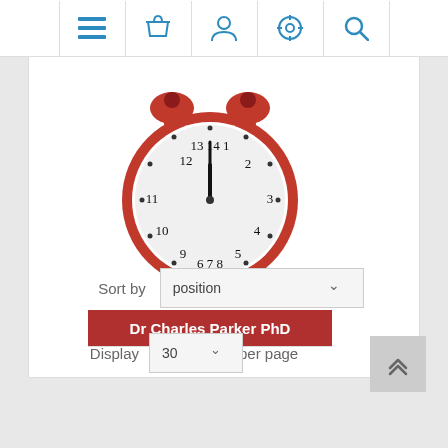Navigation bar with menu, basket, user, settings, search icons
[Figure (illustration): Red alarm clock book cover with white face showing approximately 12:00, with bells on top and legs at bottom, and a red banner below reading 'Dr Charles Parker PhD']
Sort by  position
Display  30  per page